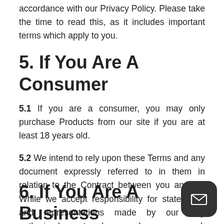accordance with our Privacy Policy. Please take the time to read this, as it includes important terms which apply to you.
5. If You Are A Consumer
5.1 If you are a consumer, you may only purchase Products from our site if you are at least 18 years old.
5.2 We intend to rely upon these Terms and any document expressly referred to in them in relation to the Contract between you and us. While we accept responsibility for statements and representations made by our duly authorised agents, please make sure you ask for any variations from these Terms to be confirmed in writing.
6. If You Are A Business